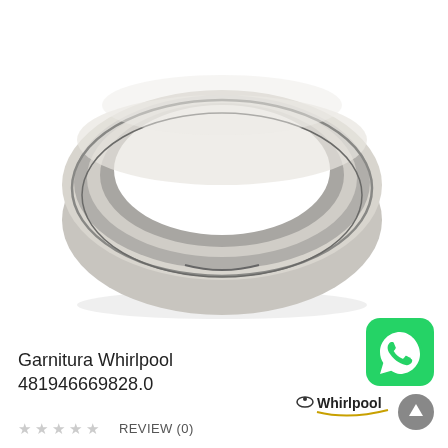[Figure (photo): A gray rubber door gasket/seal for a washing machine (Whirlpool part 481946669828.0), shown as a round O-ring shaped rubber bellow viewed from a slight angle against a white background.]
Garnitura Whirlpool 481946669828.0
[Figure (logo): WhatsApp icon — green rounded square with white phone handset silhouette]
[Figure (logo): Whirlpool brand logo — black text with a gold/yellow curved underline and a small circular orbit symbol]
REVIEW (0)